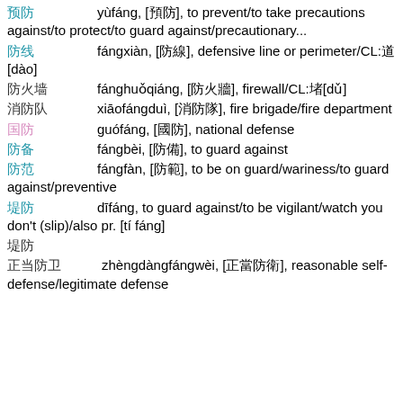预防 yùfáng, [預防], to prevent/to take precautions against/to protect/to guard against/precautionary...
防线 fángxiàn, [防線], defensive line or perimeter/CL:道[dào]
防火墙 fánghuǒqiáng, [防火牆], firewall/CL:堵[dǔ]
消防队 xiāofángduì, [消防隊], fire brigade/fire department
国防 guófáng, [國防], national defense
防备 fángbèi, [防備], to guard against
防范 fángfàn, [防範], to be on guard/wariness/to guard against/preventive
堤防 dīfáng, to guard against/to be vigilant/watch you don't (slip)/also pr. [tí fáng]
堤防
正当防卫 zhèngdàngfángwèi, [正當防衛], reasonable self-defense/legitimate defense